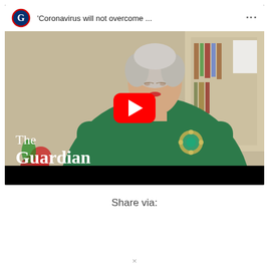[Figure (screenshot): YouTube video thumbnail from The Guardian showing Queen Elizabeth II in a green outfit delivering a speech. The video title reads 'Coronavirus will not overcome ...' with The Guardian logo. A red YouTube play button is overlaid in the center.]
Share via: